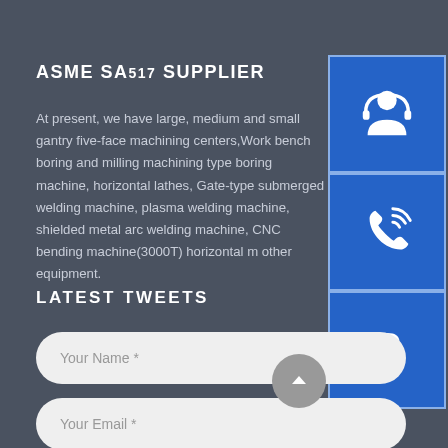ASME SA517 SUPPLIER
At present, we have large, medium and small gantry five-face machining centers, Work bench boring and milling machining type boring machine, horizontal lathes, Gate-type submerged welding machine, plasma welding machine, shielded metal arc welding machine, CNC bending machine(3000T) horizontal m other equipment.
[Figure (illustration): Three blue icon boxes on the right side: top box with a customer service headset/person icon, middle box with a phone/signal icon, bottom box with Skype logo icon]
LATEST TWEETS
Your Name *
Your Email *